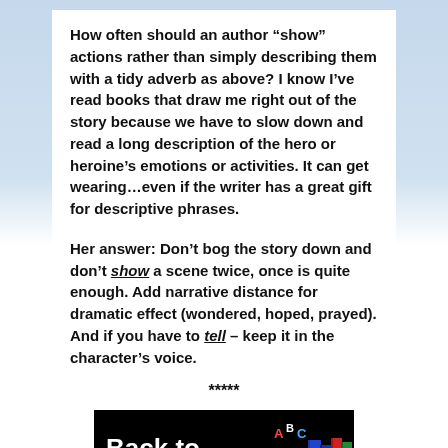How often should an author “show” actions rather than simply describing them with a tidy adverb as above? I know I’ve read books that draw me right out of the story because we have to slow down and read a long description of the hero or heroine’s emotions or activities. It can get wearing…even if the writer has a great gift for descriptive phrases.
Her answer: Don’t bog the story down and don’t show a scene twice, once is quite enough. Add narrative distance for dramatic effect (wondered, hoped, prayed). And if you have to tell – keep it in the character’s voice.
*****
[Figure (illustration): Back to School illustration with white text on black background, showing colorful books, an apple, and ABC/123 text on the right side]